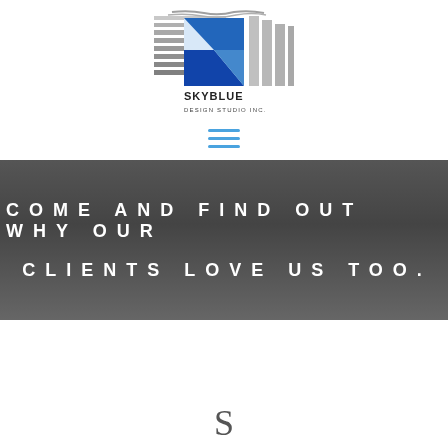[Figure (logo): SkyBlue Design Studio Inc. logo with blue geometric shapes and horizontal lines on left, and vertical columns on right, with company name text below]
[Figure (other): Hamburger menu icon with three blue horizontal lines]
COME AND FIND OUT WHY OUR CLIENTS LOVE US TOO.
S